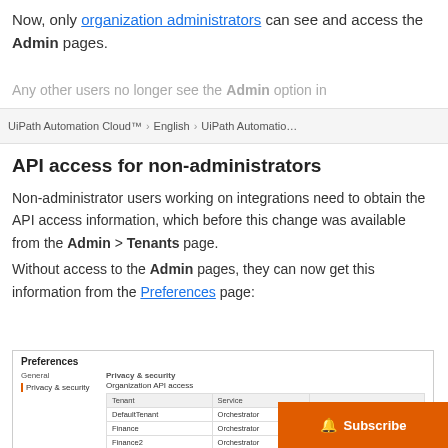Now, only organization administrators can see and access the Admin pages.
Any other users no longer see the Admin option in
UiPath Automation Cloud™  ›  English  ›  UiPath Automation…
API access for non-administrators
Non-administrator users working on integrations need to obtain the API access information, which before this change was available from the Admin > Tenants page.
Without access to the Admin pages, they can now get this information from the Preferences page:
[Figure (screenshot): Screenshot of the Preferences page showing Privacy & security section with Organization API access table listing Tenant and Service columns with rows: DefaultTenant/Orchestrator, Finance/Orchestrator with View API access link, Finance2/Orchestrator with View API access link]